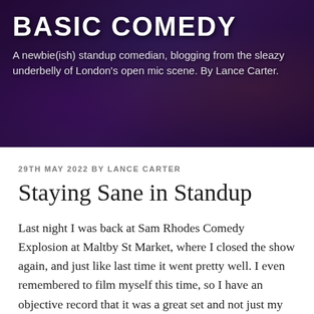BASIC COMEDY
A newbie(ish) standup comedian, blogging from the sleazy underbelly of London's open mic scene. By Lance Carter.
29TH MAY 2022 BY LANCE CARTER
Staying Sane in Standup
Last night I was back at Sam Rhodes Comedy Explosion at Maltby St Market, where I closed the show again, and just like last time it went pretty well. I even remembered to film myself this time, so I have an objective record that it was a great set and not just my memory playing it up.
But in between that and my last gig at Malt were four shows that didn't go so well – ranging from an "ok but not great" 10 minute spot at another bar show, to a grim 5 spot at an open mic with almost no audience, where even…